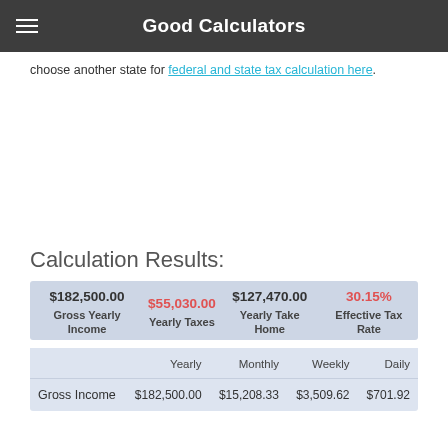Good Calculators
choose another state for federal and state tax calculation here.
Calculation Results:
| Gross Yearly Income | Yearly Taxes | Yearly Take Home | Effective Tax Rate |
| --- | --- | --- | --- |
| $182,500.00 | $55,030.00 | $127,470.00 | 30.15% |
|  | Yearly | Monthly | Weekly | Daily |
| --- | --- | --- | --- | --- |
| Gross Income | $182,500.00 | $15,208.33 | $3,509.62 | $701.92 |